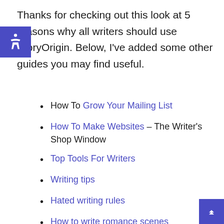Thanks for checking out this look at 5 reasons why all writers should use StoryOrigin. Below, I've added some other guides you may find useful.
How To Grow Your Mailing List
How To Make Websites – The Writer's Shop Window
Top Tools For Writers
Writing tips
Hated writing rules
How to write romance scenes
How to format a manuscript
Mental health in fantasy books